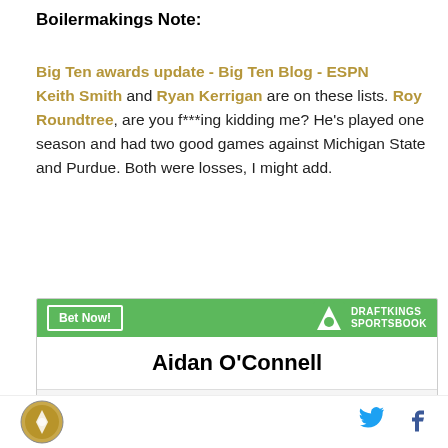Boilermakings Note:
Big Ten awards update - Big Ten Blog - ESPN Keith Smith and Ryan Kerrigan are on these lists. Roy Roundtree, are you f***ing kidding me? He's played one season and had two good games against Michigan State and Purdue. Both were losses, I might add.
[Figure (infographic): DraftKings Sportsbook advertisement banner with green header showing 'Bet Now!' button and DraftKings Sportsbook logo, with Aidan O'Connell name displayed below]
Boilermakings logo, Twitter icon, Facebook icon